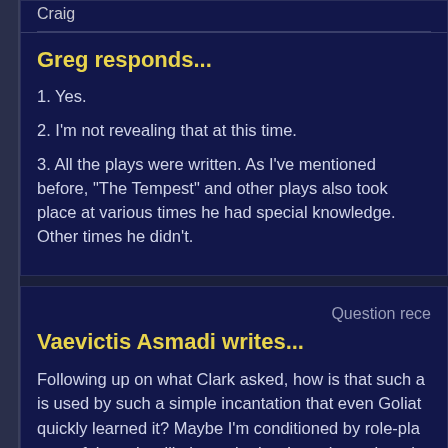Craig
Greg responds...
1. Yes.
2. I'm not revealing that at this time.
3. All the plays were written. As I've mentioned before, "The Tempest" and other plays also took place at various times he had special knowledge. Other times he didn't.
Question rece
Vaevictis Asmadi writes...
Following up on what Clark asked, how is that such a powerful magic is used by such a simple incantation that even Goliath quickly learned it? Maybe I'm conditioned by role-playing where powerful magic will always be harder to learn than that. It seems strange to me that the Phoenix Gate incantation, and the one to enter Avalon, are so easily learned when they seem